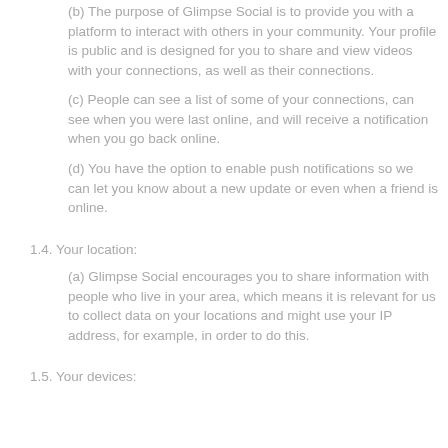(b) The purpose of Glimpse Social is to provide you with a platform to interact with others in your community. Your profile is public and is designed for you to share and view videos with your connections, as well as their connections.
(c) People can see a list of some of your connections, can see when you were last online, and will receive a notification when you go back online.
(d) You have the option to enable push notifications so we can let you know about a new update or even when a friend is online.
1.4. Your location:
(a) Glimpse Social encourages you to share information with people who live in your area, which means it is relevant for us to collect data on your locations and might use your IP address, for example, in order to do this.
1.5. Your devices: